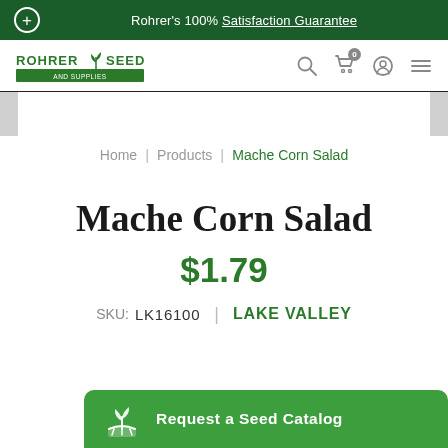Rohrer's 100% Satisfaction Guarantee
[Figure (logo): Rohrer Seeds logo with green plant icon and tagline bar]
Home | Products | Mache Corn Salad
Mache Corn Salad
$1.79
SKU: LK16100 | LAKE VALLEY
Request a Seed Catalog